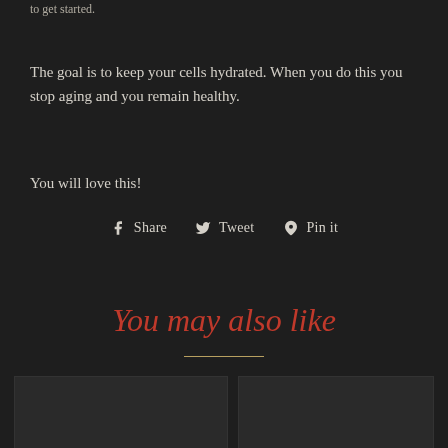to get started.
The goal is to keep your cells hydrated. When you do this you stop aging and you remain healthy.
You will love this!
Share  Tweet  Pin it
You may also like